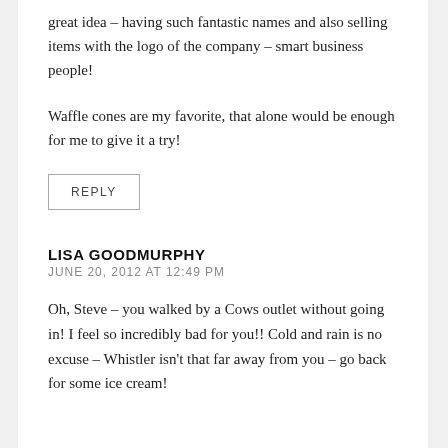great idea – having such fantastic names and also selling items with the logo of the company – smart business people!
Waffle cones are my favorite, that alone would be enough for me to give it a try!
REPLY
LISA GOODMURPHY
JUNE 20, 2012 AT 12:49 PM
Oh, Steve – you walked by a Cows outlet without going in! I feel so incredibly bad for you!! Cold and rain is no excuse – Whistler isn't that far away from you – go back for some ice cream!